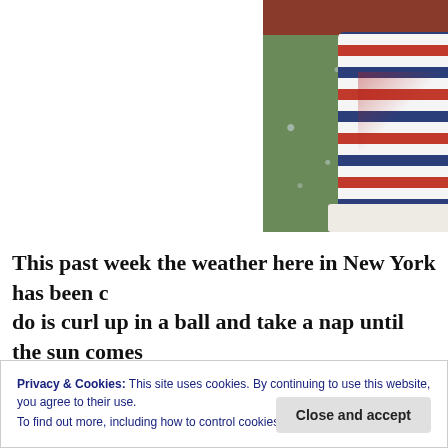[Figure (photo): Photo of striped red, white, and blue rain boots/sneakers on a wet green surface with rain droplets visible, with a red umbrella partially visible at top]
This past week the weather here in New York has been c… do is curl up in a ball and take a nap until the sun comes… knees will vouch for this. But looking past the rain cloud… awesome! I'm not saying this to sound corny, but if they… Big… ny
Privacy & Cookies: This site uses cookies. By continuing to use this website, you agree to their use. To find out more, including how to control cookies, see here: Cookie Policy
Close and accept